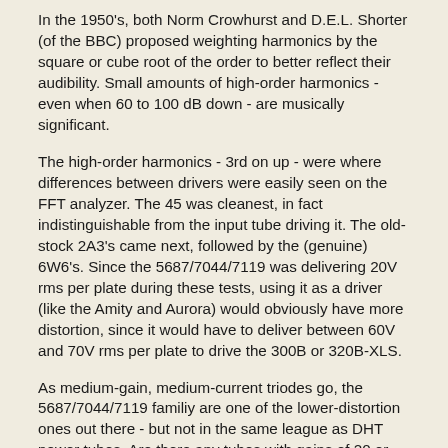In the 1950's, both Norm Crowhurst and D.E.L. Shorter (of the BBC) proposed weighting harmonics by the square or cube root of the order to better reflect their audibility. Small amounts of high-order harmonics - even when 60 to 100 dB down - are musically significant.
The high-order harmonics - 3rd on up - were where differences between drivers were easily seen on the FFT analyzer. The 45 was cleanest, in fact indistinguishable from the input tube driving it. The old-stock 2A3's came next, followed by the (genuine) 6W6's. Since the 5687/7044/7119 was delivering 20V rms per plate during these tests, using it as a driver (like the Amity and Aurora) would obviously have more distortion, since it would have to deliver between 60V and 70V rms per plate to drive the 300B or 320B-XLS.
As medium-gain, medium-current triodes go, the 5687/7044/7119 familiy are one of the lower-distortion ones out there - but not in the same league as DHT power tubes. Are there any tubes with gains of 20 or more that have lower distortion than the 5687/7044/7119...